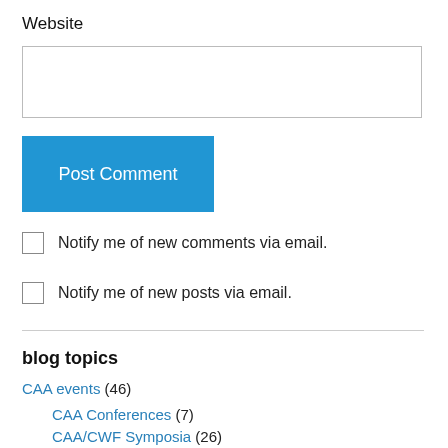Website
Post Comment
Notify me of new comments via email.
Notify me of new posts via email.
blog topics
CAA events (46)
CAA Conferences (7)
CAA/CWF Symposia (26)
carriage collections (22)
Carriage Journal magazine (83)
upcoming articles (22)